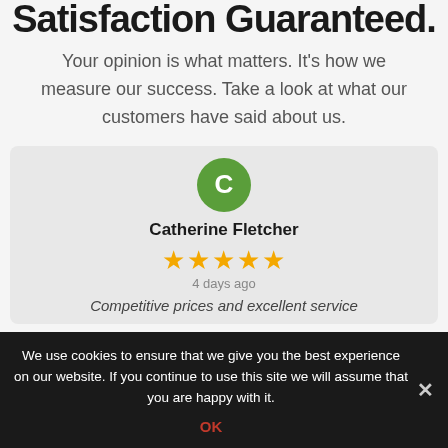Satisfaction Guaranteed.
Your opinion is what matters. It's how we measure our success. Take a look at what our customers have said about us.
[Figure (other): Customer review card showing a green avatar circle with letter C, reviewer name Catherine Fletcher, five gold stars rating, and '4 days ago' timestamp, with partial review text 'Competitive prices and excellent service']
We use cookies to ensure that we give you the best experience on our website. If you continue to use this site we will assume that you are happy with it.
OK